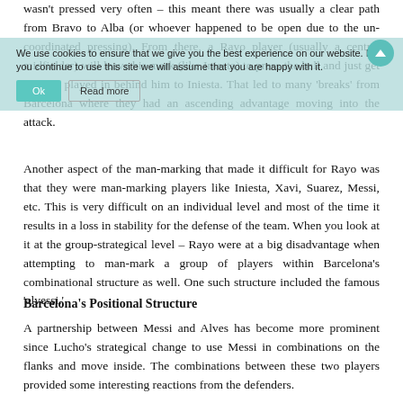wasn't pressed very often – this meant there was usually a clear path from Bravo to Alba (or whoever happened to be open due to the un-coordinated pressing). From there, a Rayo player (usually a central midfielder) will leave his mark (like Iniesta) to press the ball and just get the ball played in behind him to Iniesta. That led to many 'breaks' from Barcelona where they had an ascending advantage moving into the attack.
We use cookies to ensure that we give you the best experience on our website. If you continue to use this site we will assume that you are happy with it.
Another aspect of the man-marking that made it difficult for Rayo was that they were man-marking players like Iniesta, Xavi, Suarez, Messi, etc. This is very difficult on an individual level and most of the time it results in a loss in stability for the defense of the team. When you look at it at the group-strategical level – Rayo were at a big disadvantage when attempting to man-mark a group of players within Barcelona's combinational structure as well. One such structure included the famous 'alvessi.'
Barcelona's Positional Structure
A partnership between Messi and Alves has become more prominent since Lucho's strategical change to use Messi in combinations on the flanks and move inside. The combinations between these two players provided some interesting reactions from the defenders.